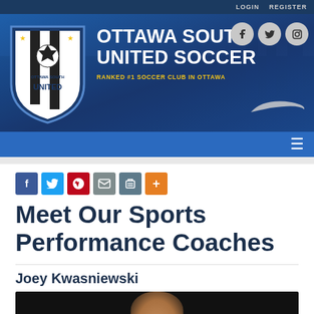LOGIN   REGISTER
[Figure (logo): Ottawa South United Soccer club website header with shield logo, club name, social icons, Nike logo, and navigation bar. Text: OTTAWA SOUTH UNITED SOCCER, RANKED #1 SOCCER CLUB IN OTTAWA]
[Figure (infographic): Social share buttons row: Facebook, Twitter, Pinterest, Email, Print, Plus]
Meet Our Sports Performance Coaches
Joey Kwasniewski
[Figure (photo): Photo of Joey Kwasniewski, partially visible at bottom of page, dark background]